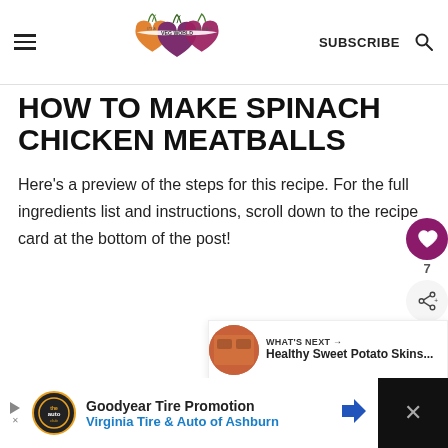It's a Veg World After All — SUBSCRIBE
HOW TO MAKE SPINACH CHICKEN MEATBALLS
Here's a preview of the steps for this recipe. For the full ingredients list and instructions, scroll down to the recipe card at the bottom of the post!
[Figure (infographic): Floating UI buttons: heart/save button (purple, count 7) and share button on right side]
[Figure (infographic): What's Next widget showing Healthy Sweet Potato Skins thumbnail and label]
[Figure (infographic): Goodyear Tire Promotion ad bar at bottom: Virginia Tire & Auto of Ashburn]